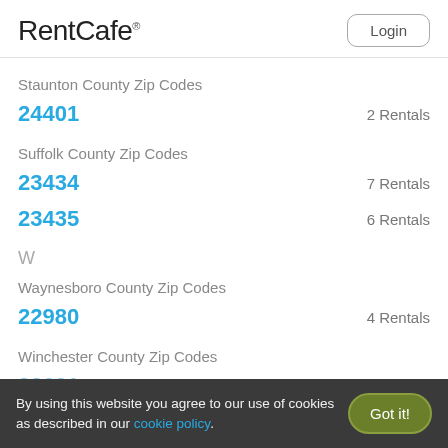RentCafe
Staunton County Zip Codes
24401  2 Rentals
Suffolk County Zip Codes
23434  7 Rentals
23435  6 Rentals
W
Waynesboro County Zip Codes
22980  4 Rentals
Winchester County Zip Codes
22601  2 Rentals
By using this website you agree to our use of cookies as described in our cookie policy.